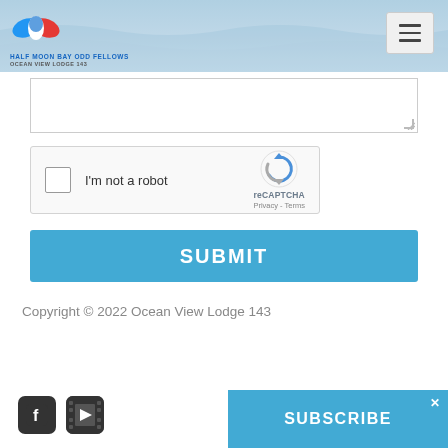[Figure (logo): Half Moon Bay Odd Fellows Ocean View Lodge 143 logo with navigation hamburger menu and ocean background header]
[Figure (screenshot): Textarea input field (partially visible, bottom portion)]
[Figure (screenshot): reCAPTCHA widget with checkbox and 'I'm not a robot' text]
[Figure (screenshot): SUBMIT button in blue]
Copyright © 2022 Ocean View Lodge 143
[Figure (screenshot): Social media icons: Facebook and YouTube]
[Figure (screenshot): SUBSCRIBE button/banner in blue with close X]